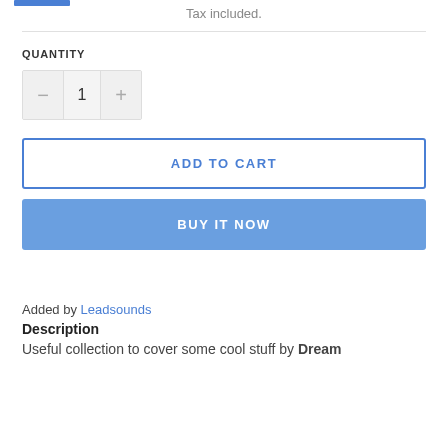Tax included.
QUANTITY
[Figure (other): Quantity selector with minus button, value 1, and plus button]
ADD TO CART
BUY IT NOW
Added by Leadsounds
Description
Useful collection to cover some cool stuff by Dream